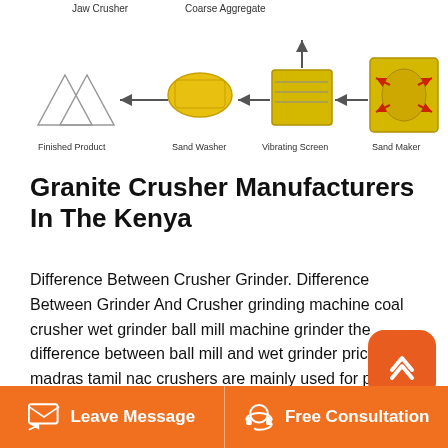[Figure (illustration): Diagram of crusher/aggregate processing equipment showing Jaw Crusher, Coarse Aggregate, Vibrating Screen, Sand Maker, Sand Washer, and Finished Product connected by arrows.]
Granite Crusher Manufacturers In The Kenya
Difference Between Crusher Grinder. Difference Between Grinder And Crusher grinding machine coal crusher wet grinder ball mill machine grinder the difference between ball mill and wet grinder price list in madras tamil nac crushers are mainly used for primary crushing and a cone crusher is suitable for crushing various of midhard and above midhard ores and rocks.
Granite crushers manufacturers in belgium. Granite Crusher Manufacturers In Belgium. Granite Crusher Manufacturers In Belgium. Quarry spares impact crusher
Leave Message   Free Consultation